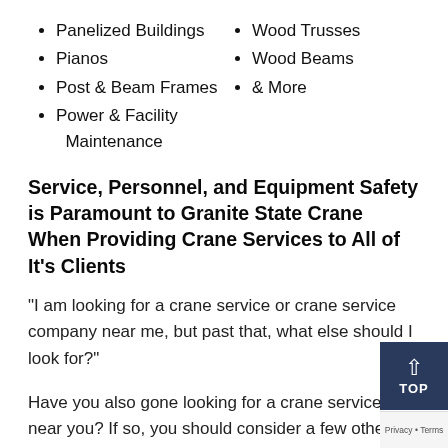Panelized Buildings
Pianos
Post & Beam Frames
Power & Facility Maintenance
Wood Trusses
Wood Beams
& More
Service, Personnel, and Equipment Safety is Paramount to Granite State Crane When Providing Crane Services to All of It’s Clients
“I am looking for a crane service or crane service company near me, but past that, what else should I look for?”
Have you also gone looking for a crane service near you? If so, you should consider a few other requirements before making where the crane service company is located your primary criteria. When it comes to crane services near you or me, your primary concern